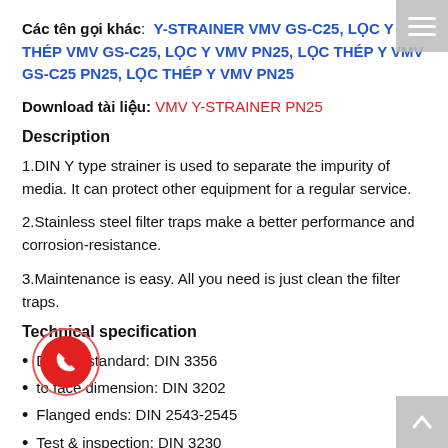Các tên gọi khác: Y-STRAINER VMV GS-C25, LỌC Y THÉP VMV GS-C25, LỌC Y VMV PN25, LỌC THÉP Y VMV GS-C25 PN25, LỌC THÉP Y VMV PN25
Download tài liệu: VMV Y-STRAINER PN25
Description
1.DIN Y type strainer is used to separate the impurity of media. It can protect other equipment for a regular service.
2.Stainless steel filter traps make a better performance and corrosion-resistance.
3.Maintenance is easy. All you need is just clean the filter traps.
Technical specification
Design standard: DIN 3356
Face to face dimension: DIN 3202
Flanged ends: DIN 2543-2545
Test & inspection: DIN 3230